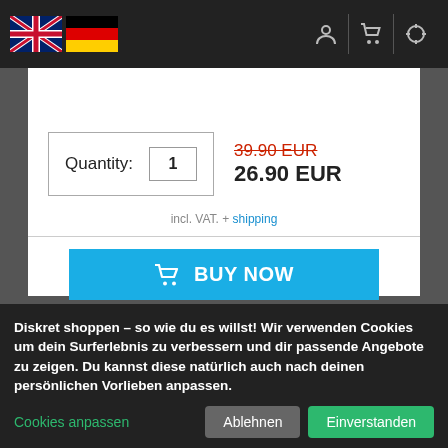[Figure (screenshot): UK flag icon in header navigation]
[Figure (screenshot): German flag icon in header navigation]
Quantity: 1
39.90 EUR (strikethrough red)
26.90 EUR
incl. VAT. + shipping
BUY NOW
Diskret shoppen – so wie du es willst! Wir verwenden Cookies um dein Surferlebnis zu verbessern und dir passende Angebote zu zeigen. Du kannst diese natürlich auch nach deinen persönlichen Vorlieben anpassen.
Cookies anpassen
Ablehnen
Einverstanden